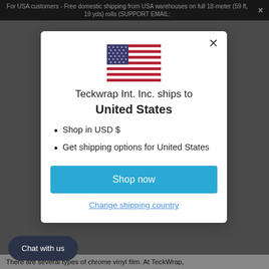For USA customers - Free domestic shipping from USA warehouses on full 18-meter (59 ft, 19 yds) rolls (SUPPORT EMAIL:
[Figure (illustration): US flag SVG illustration centered in modal]
Teckwrap Int. Inc. ships to United States
Shop in USD $
Get shipping options for United States
Shop now
Change shipping country
Chat with us
There are several types of chrome vinyl film. At TeckWrap,